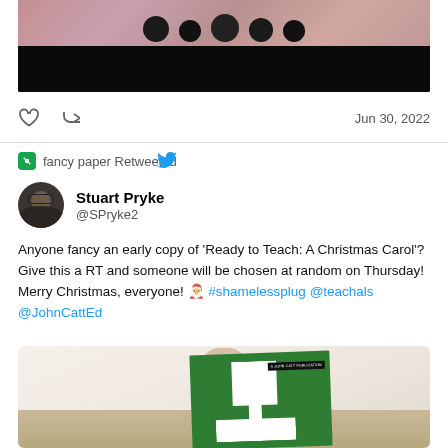[Figure (photo): Top portion of a photo showing silhouetted people against a glittery/sparkly background, lower half is black]
Jun 30, 2022
fancy paper Retweeted
Stuart Pryke
@SPryke2
Anyone fancy an early copy of ‘Ready to Teach: A Christmas Carol’? Give this a RT and someone will be chosen at random on Thursday! Merry Christmas, everyone! 🎅 #shamelessplug @teachals
@JohnCattEd
[Figure (photo): Photo of a green book cover (Ready to Teach: A Christmas Carol, A John Catt Publication) on a light wooden floor with a hand/person visible in background]